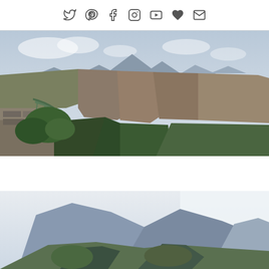Social media icons: Twitter, Pinterest, Facebook, Instagram, YouTube, Favorites, Email
[Figure (photo): Panoramic view of the Gorges du Verdon canyon in France, showing dramatic limestone cliffs dropping into a deep green gorge with lush vegetation. Mountains visible in the background under a cloudy sky. Stone steps and metal railing visible in the foreground left.]
[Figure (photo): Second photograph showing a mountain landscape with large rocky peaks and forested valleys, similar canyon scenery shot from a different angle, partially cropped at bottom of page.]